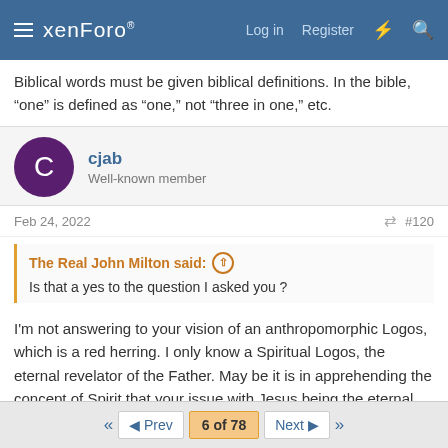xenForo — Log in  Register
Biblical words must be given biblical definitions. In the bible, “one” is defined as “one,” not “three in one,” etc.
cjab
Well-known member
Feb 24, 2022   #120
The Real John Milton said:
Is that a yes to the question I asked you ?
I'm not answering to your vision of an anthropomorphic Logos, which is a red herring. I only know a Spiritual Logos, the eternal revelator of the Father. May be it is in apprehending the concept of Spirit that your issue with Jesus being the eternal Logos lies.
◄◄  ◄ Prev  6 of 78  Next ►  ►►